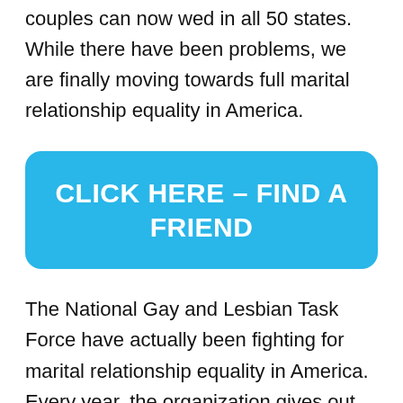couples can now wed in all 50 states. While there have been problems, we are finally moving towards full marital relationship equality in America.
[Figure (other): Blue rounded rectangle button with white bold text reading 'CLICK HERE – FIND A FRIEND']
The National Gay and Lesbian Task Force have actually been fighting for marital relationship equality in America. Every year, the organization gives out their Equality Award to a person who has made